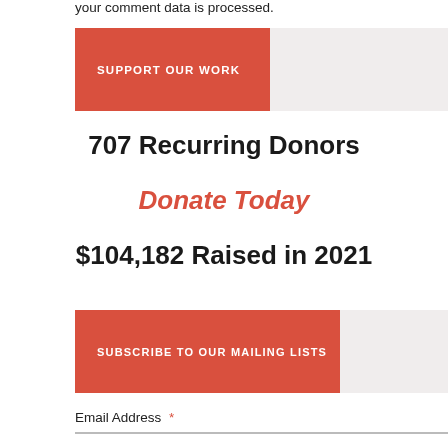your comment data is processed.
SUPPORT OUR WORK
707 Recurring Donors
Donate Today
$104,182 Raised in 2021
SUBSCRIBE TO OUR MAILING LISTS
Email Address *
First Name